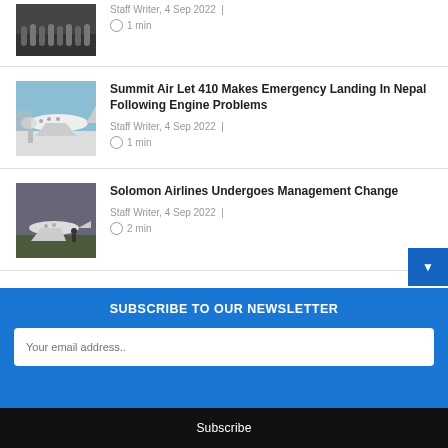[Figure (photo): Sports team photo thumbnail at top of page (partial)]
Staff Writer, 4 Sep 2022 | 1 min
[Figure (photo): Airplane on tarmac - Summit Air Let 410]
Summit Air Let 410 Makes Emergency Landing In Nepal Following Engine Problems
Staff Writer, 4 Sep 2022 | 1 min
[Figure (photo): Small airplane on airfield - Solomon Airlines]
Solomon Airlines Undergoes Management Change
Staff Writer, 4 Sep 2022 | 2 min
SUBSCRIBE TO OUR NEWSLETTER
Your email address..
Subscribe